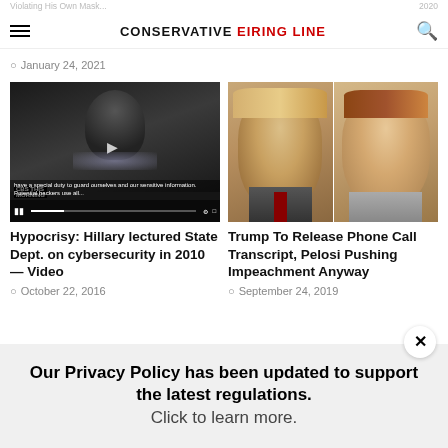CONSERVATIVE FIRING LINE
January 24, 2021
[Figure (screenshot): Video thumbnail showing Hillary Clinton with CBS This Morning banner and caption text about special duty to guard sensitive information. Hackers use all... with play controls at bottom]
Hypocrisy: Hillary lectured State Dept. on cybersecurity in 2010 — Video
October 22, 2016
[Figure (photo): Split photo showing Donald Trump on the left and Nancy Pelosi on the right]
Trump To Release Phone Call Transcript, Pelosi Pushing Impeachment Anyway
September 24, 2019
Our Privacy Policy has been updated to support the latest regulations. Click to learn more.